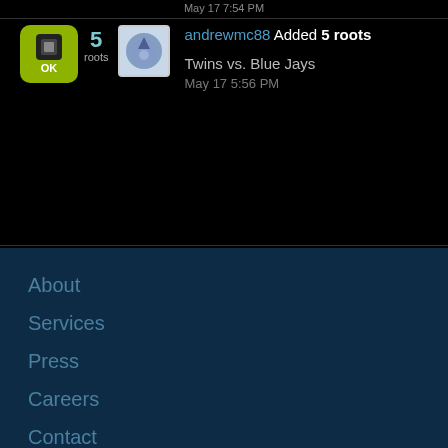May 17 7:54 PM
andrewmc88 Added 5 roots
Twins vs. Blue Jays
May 17 5:56 PM
About
Services
Press
Careers
Contact
Our Story